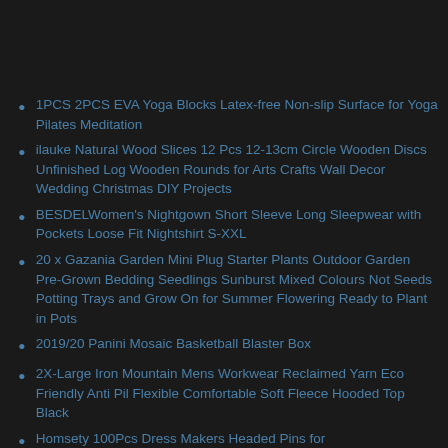1PCS 2PCS EVA Yoga Blocks Latex-free Non-slip Surface for Yoga Pilates Meditation
ilauke Natural Wood Slices 12 Pcs 12-13cm Circle Wooden Discs Unfinished Log Wooden Rounds for Arts Crafts Wall Decor Wedding Christmas DIY Projects
BESDELWomen's Nightgown Short Sleeve Long Sleepwear with Pockets Loose Fit Nightshirt S-XXL
20 x Gazania Garden Mini Plug Starter Plants Outdoor Garden Pre-Grown Bedding Seedlings Sunburst Mixed Colours Not Seeds Potting Trays and Grow On for Summer Flowering Ready to Plant in Pots
2019/20 Panini Mosaic Basketball Blaster Box
2X-Large Iron Mountain Mens Workwear Reclaimed Yarn Eco Friendly Anti Pil Flexible Comfortable Soft Fleece Hooded Top Black
Homsety 100Pcs Dress Makers Headed Pins for